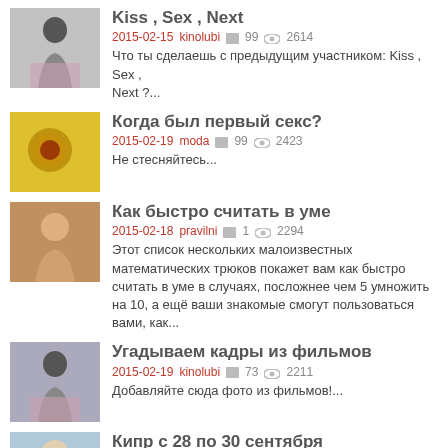Kiss , Sex , Next
2015-02-15  kinolubi  99  2614
Что ты сделаешь с предыдущим участником: Kiss , Sex , Next ?...
Когда был первый секс?
2015-02-19  moda  99  2423
Не стесняйтесь...
Как быстро считать в уме
2015-02-18  pravilni  1  2294
Этот список нескольких малоизвестных математических трюков покажет вам как быстро считать в уме в случаях, посложнее чем 5 умножить на 10, а ещё ваши знакомые смогут пользоваться вами, как...
Угадываем кадры из фильмов
2015-02-19  kinolubi  73  2211
Добавляйте сюда фото из фильмов!...
Кипр с 28 по 30 сентября
2015-02-19  violetta  4  2132
у знакомых пропадают путёвки на Кипр на 3 дня с 28 по 30. кому интересно пишите в ЛС....